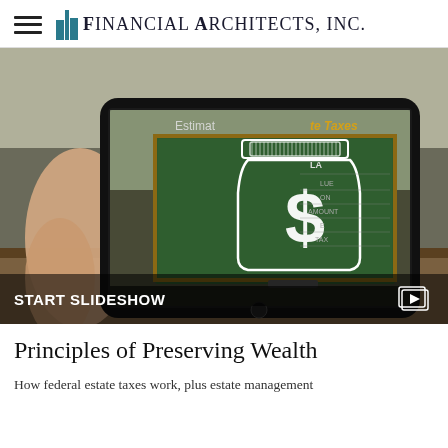Financial Architects, Inc.
[Figure (screenshot): A hand holding a tablet displaying a slideshow about estimating estate taxes, showing a jar with a dollar sign icon over a chalkboard with formula fields. Text reads 'START SLIDESHOW' at the bottom.]
Principles of Preserving Wealth
How federal estate taxes work, plus estate management